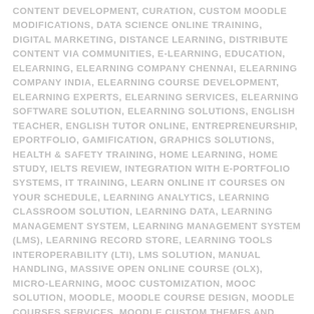CONTENT DEVELOPMENT, CURATION, CUSTOM MOODLE MODIFICATIONS, DATA SCIENCE ONLINE TRAINING, DIGITAL MARKETING, DISTANCE LEARNING, DISTRIBUTE CONTENT VIA COMMUNITIES, E-LEARNING, EDUCATION, ELEARNING, ELEARNING COMPANY CHENNAI, ELEARNING COMPANY INDIA, ELEARNING COURSE DEVELOPMENT, ELEARNING EXPERTS, ELEARNING SERVICES, ELEARNING SOFTWARE SOLUTION, ELEARNING SOLUTIONS, ENGLISH TEACHER, ENGLISH TUTOR ONLINE, ENTREPRENEURSHIP, EPORTFOLIO, GAMIFICATION, GRAPHICS SOLUTIONS, HEALTH & SAFETY TRAINING, HOME LEARNING, HOME STUDY, IELTS REVIEW, INTEGRATION WITH E-PORTFOLIO SYSTEMS, IT TRAINING, LEARN ONLINE IT COURSES ON YOUR SCHEDULE, LEARNING ANALYTICS, LEARNING CLASSROOM SOLUTION, LEARNING DATA, LEARNING MANAGEMENT SYSTEM, LEARNING MANAGEMENT SYSTEM (LMS), LEARNING RECORD STORE, LEARNING TOOLS INTEROPERABILITY (LTI), LMS SOLUTION, MANUAL HANDLING, MASSIVE OPEN ONLINE COURSE (OLX), MICRO-LEARNING, MOOC CUSTOMIZATION, MOOC SOLUTION, MOODLE, MOODLE COURSE DESIGN, MOODLE COURSES SERVICES, MOODLE CUSTOM THEMES AND INSTALLATION, MOODLE CUSTOMIZATION, MOODLE CUSTOMIZATION SERVICE COMPANY, MOODLE LMS, MOODLE LMS SOLUTIONS, MOODLE SERVICES, MOODLE THEME DESIGN, MOODLE TRAINING COURSES DEVELOPMENT, NETWORKING WITH OTHER LMS, OET REVIEW, ON-LINE LEARNING, ONLINE COURSES AND EXAMINATIONS, ONLINE EDUCATION, ONLINE ENGLISH CLASSES, ONLINE LEARNING, ONLINE TEACHER, ONLINE TRAINING, OPEN BADGES, OPEN SOURCE,